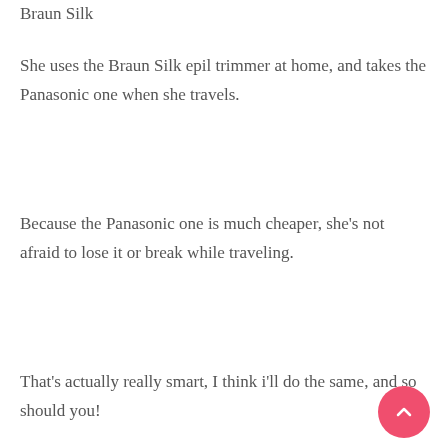Braun Silk
She uses the Braun Silk epil trimmer at home, and takes the Panasonic one when she travels.
Because the Panasonic one is much cheaper, she’s not afraid to lose it or break while traveling.
That’s actually really smart, I think i’ll do the same, and so should you!